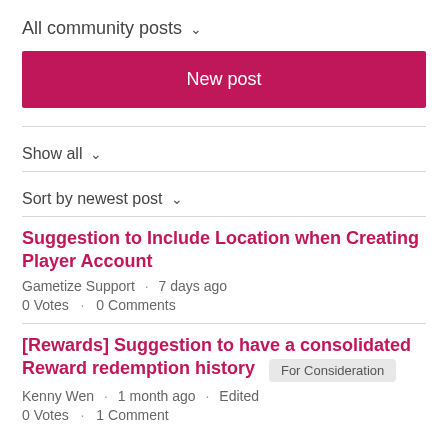All community posts ˅
New post
Show all ˅
Sort by newest post ˅
Suggestion to Include Location when Creating Player Account
Gametize Support · 7 days ago
0 Votes · 0 Comments
[Rewards] Suggestion to have a consolidated Reward redemption history
For Consideration
Kenny Wen · 1 month ago · Edited
0 Votes · 1 Comment